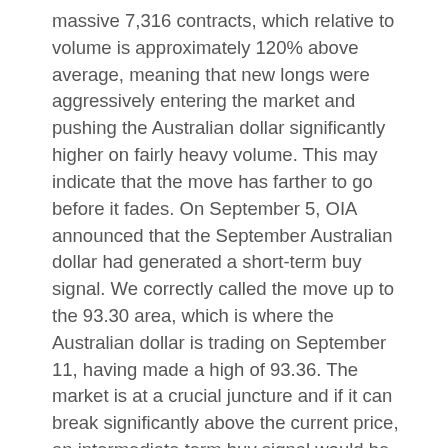massive 7,316 contracts, which relative to volume is approximately 120% above average, meaning that new longs were aggressively entering the market and pushing the Australian dollar significantly higher on fairly heavy volume. This may indicate that the move has farther to go before it fades. On September 5, OIA announced that the September Australian dollar had generated a short-term buy signal. We correctly called the move up to the 93.30 area, which is where the Australian dollar is trading on September 11, having made a high of 93.36. The market is at a crucial juncture and if it can break significantly above the current price, an intermediate term buy signal would be generated. We think the market is going to struggle at the current level due to its overbought status. However, it appears we have more shorts to blowout.